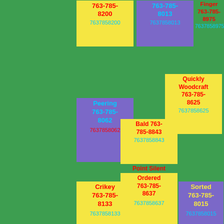[Figure (infographic): Green background with colored cards (yellow and purple) showing business names and phone numbers in a grid layout]